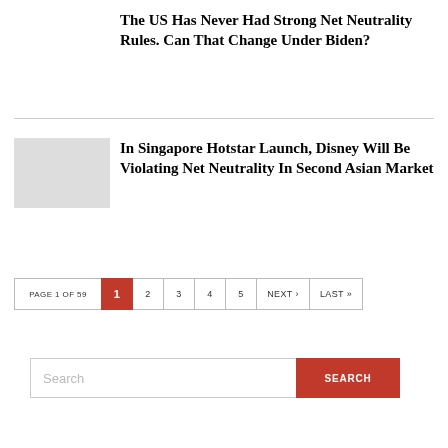The US Has Never Had Strong Net Neutrality Rules. Can That Change Under Biden?
In Singapore Hotstar Launch, Disney Will Be Violating Net Neutrality In Second Asian Market
PAGE 1 OF 59  1  2  3  4  5  NEXT ›  LAST »
Search  SEARCH